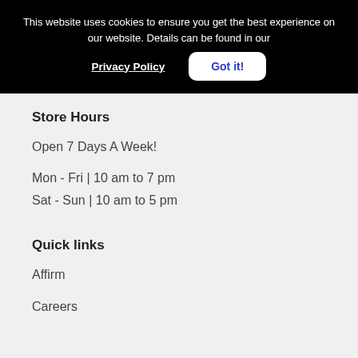This website uses cookies to ensure you get the best experience on our website. Details can be found in our Privacy Policy  Got it!
Store Hours
Open 7 Days A Week!
Mon - Fri | 10 am to 7 pm
Sat - Sun | 10 am to 5 pm
Quick links
Affirm
Careers